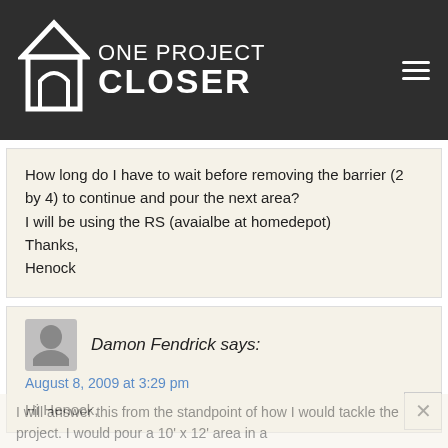[Figure (logo): One Project Closer website logo with house icon on dark background, hamburger menu icon on right]
How long do I have to wait before removing the barrier (2 by 4) to continue and pour the next area?
I will be using the RS (avaialbe at homedepot)
Thanks,
Henock
Damon Fendrick says:
August 8, 2009 at 3:29 pm
Hi Henock,
I will answer this from the standpoint of how I would tackle the project. I would pour a 10' x 12' area in a